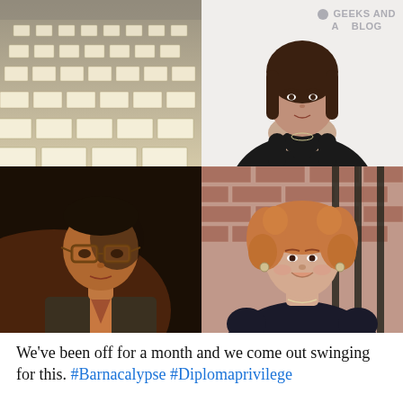[Figure (photo): Four-photo grid collage: top-left shows rows of exam desks in a large hall, top-right shows a woman with dark hair wearing a black sleeveless dress against a white background with a partially visible blog logo overlay reading 'GEEKS AND A BLOG', bottom-left shows a man with glasses in dim dramatic lighting, bottom-right shows a woman with curly hair in a dark t-shirt standing against a brick wall background.]
We've been off for a month and we come out swinging for this. #Barnacalypse #Diplomaprivilege